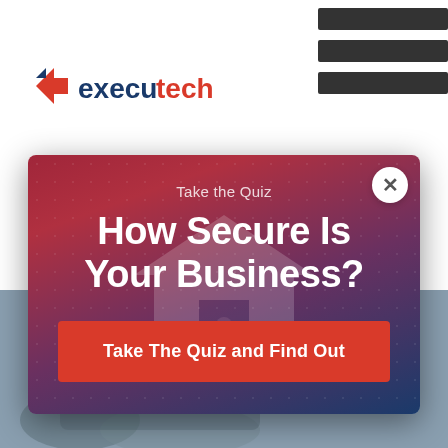[Figure (logo): Executech logo with red arrow/chevron icon and text 'executech' in blue/red]
[Figure (infographic): Navigation hamburger menu bars (3 dark bars) in top-right corner]
[Figure (infographic): Modal popup with gradient background (red to dark blue), security quiz prompt. Contains text 'Take the Quiz', 'How Secure Is Your Business?', and a red CTA button 'Take The Quiz and Find Out'. Has a close (X) button.]